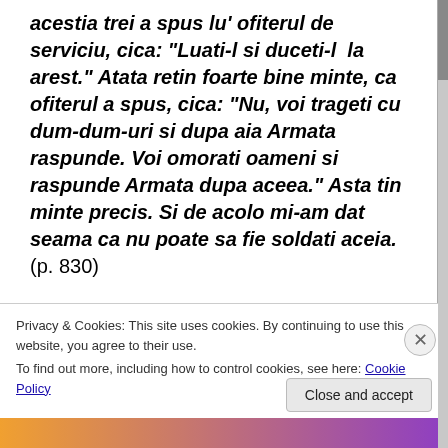acestia trei a spus lu' ofiterul de serviciu, cica: “Luati-l si duceti-l  la arest.”  Atata retin foarte bine minte, ca ofiterul a spus, cica:  “Nu, voi trageti cu dum-dum-uri si dupa aia Armata raspunde.  Voi omorati oameni si raspunde Armata dupa aceea.”  Asta tin minte precis.  Si de acolo mi-am dat seama ca nu poate sa fie soldati aceia. (p. 830)
Privacy & Cookies: This site uses cookies. By continuing to use this website, you agree to their use.
To find out more, including how to control cookies, see here: Cookie Policy
Close and accept